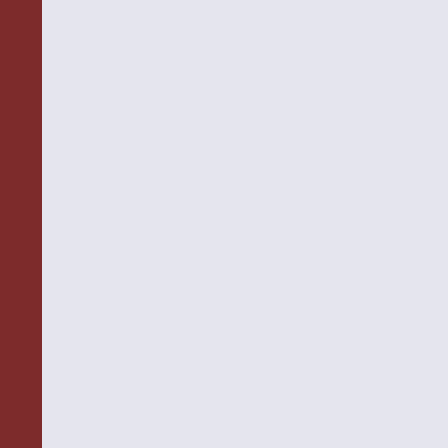Jesus 'The Teacher of Common Sense' empathizes with humanity's suffering both as Jesus "Christ Crucified" and J... amazing as it might seem, the historic... unlikely fellows ranging from the Apo... Thomas Jefferson.
Jarolsav Pelikan's name is held in the... so. His works are always thoughtful a... Through the Centuries he resists the t... points over the past two millennia. Pe... the ages. Rather, this panoramic view... through he ages and continues to do s... gives readers a glimpse into his own s... always wanted to write this book" (p.... This book is a masterful union of hea... erudition and personal piety. Morove... the Centuries may be his personal fav... first of his many works translated into...
Finally, reading this book should leav... hand, it is refreshing to read a work th... Jarolsav Pelikan is more than an autho... the other hand, this book may leave th... of criticism on learning of Pelikan...